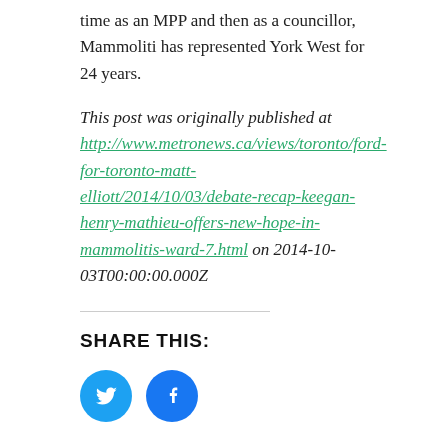time as an MPP and then as a councillor, Mammoliti has represented York West for 24 years.
This post was originally published at http://www.metronews.ca/views/toronto/ford-for-toronto-matt-elliott/2014/10/03/debate-recap-keegan-henry-mathieu-offers-new-hope-in-mammolitis-ward-7.html on 2014-10-03T00:00:00.000Z
SHARE THIS:
[Figure (other): Twitter and Facebook social share icon buttons (round circles with bird and f logos)]